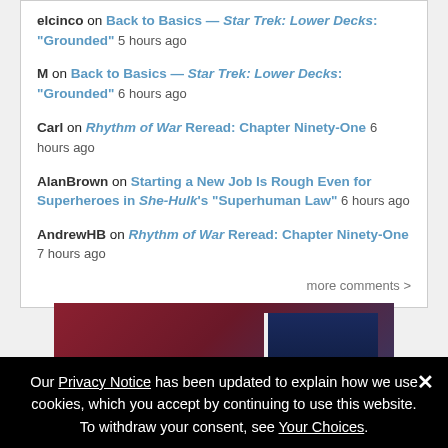elcinco on Back to Basics — Star Trek: Lower Decks: "Grounded" 5 hours ago
M on Back to Basics — Star Trek: Lower Decks: "Grounded" 6 hours ago
Carl on Rhythm of War Reread: Chapter Ninety-One 6 hours ago
AlanBrown on Starting a New Job Is Rough Even for Superheroes in She-Hulk's "Superhuman Law" 6 hours ago
AndrewHB on Rhythm of War Reread: Chapter Ninety-One 7 hours ago
more comments >
[Figure (photo): Advertisement banner for a Cixin Liu sci-fi short story collection book, red and dark blue background with book cover showing 'CIXIN LIU' and text 'This sci-fi short story collection']
Our Privacy Notice has been updated to explain how we use cookies, which you accept by continuing to use this website. To withdraw your consent, see Your Choices.